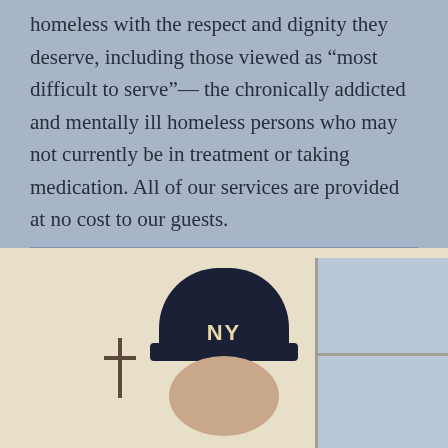homeless with the respect and dignity they deserve, including those viewed as “most difficult to serve”— the chronically addicted and mentally ill homeless persons who may not currently be in treatment or taking medication. All of our services are provided at no cost to our guests.
[Figure (photo): A person wearing a dark navy NY beanie hat, photographed indoors in front of a wall with a cross and a window to the right.]